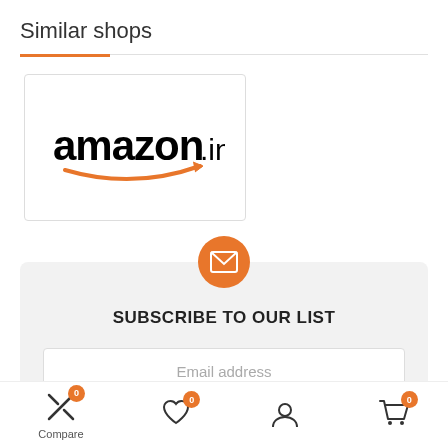Similar shops
[Figure (logo): Amazon.in logo with orange arrow/smile graphic inside a white card with border]
[Figure (infographic): Orange circle with white envelope icon centered above the subscribe section]
SUBSCRIBE TO OUR LIST
Email address
Compare | (heart icon) | (user icon) | (cart icon) with badges showing 0